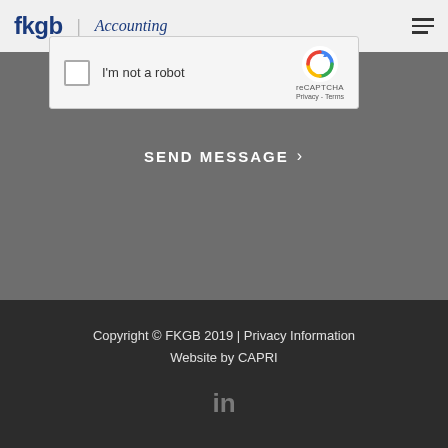fkgb | Accounting
[Figure (screenshot): reCAPTCHA widget with checkbox labeled 'I'm not a robot' and reCAPTCHA logo with Privacy and Terms links]
SEND MESSAGE >
Copyright © FKGB 2019 | Privacy Information
Website by CAPRI
[Figure (logo): LinkedIn icon in gray]